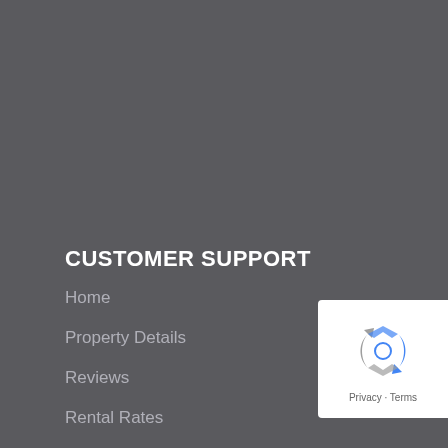CUSTOMER SUPPORT
Home
Property Details
Reviews
Rental Rates
[Figure (logo): Google reCAPTCHA badge with recaptcha icon and Privacy - Terms text]